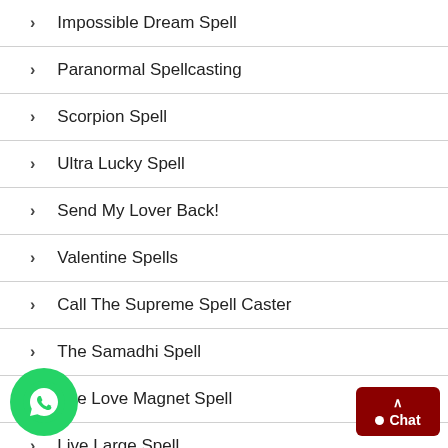Impossible Dream Spell
Paranormal Spellcasting
Scorpion Spell
Ultra Lucky Spell
Send My Lover Back!
Valentine Spells
Call The Supreme Spell Caster
The Samadhi Spell
The Love Magnet Spell
Live Large Spell
Powerful Bewitching Spell
Extreme Spells